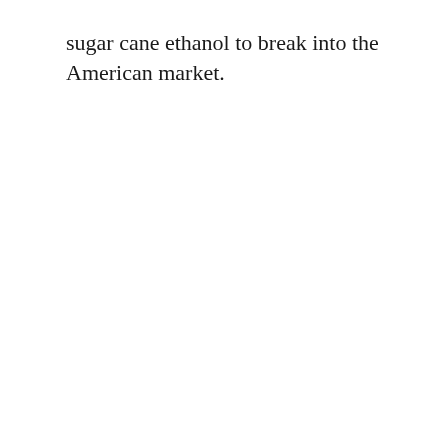sugar cane ethanol to break into the American market.